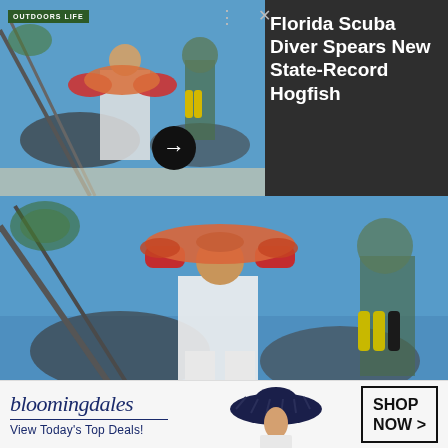[Figure (photo): Screenshot of a social media card showing a man in white shorts and red gloves holding a large hogfish in front of a blue ocean-themed mural. Card has dark background with Outdoors Life logo, headline, three-dot menu, X button, and a forward arrow button. A second inset photo shows another view of the same scene.]
Florida Scuba Diver Spears New State-Record Hogfish
[Figure (photo): Large photo of a man standing in front of a colorful blue mural featuring fish and a scuba diver. He is wearing a white shirt and white shorts, red gloves, holding up a large reddish hogfish with a speargun leaning against the left side.]
Techy, I'm not. However, there is one gadget I almost
[Figure (photo): Bloomingdale's advertisement banner. Features the Bloomingdale's logo in navy italic lettering, tagline 'View Today's Top Deals!', a woman in a large navy sun hat, and a 'SHOP NOW >' button.]